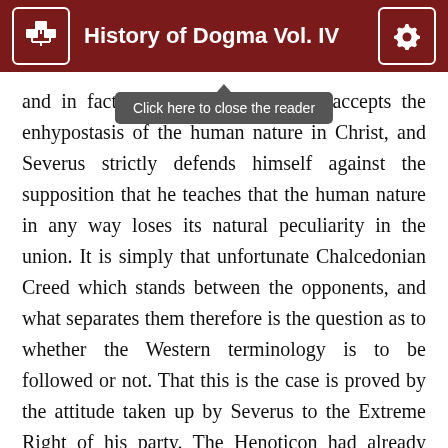History of Dogma Vol. IV
and in fact [the opposite: Severus] accepts the enhypostasis of the human nature in Christ, and Severus strictly defends himself against the supposition that he teaches that the human nature in any way loses its natural peculiarity in the union. It is simply that unfortunate Chalcedonian Creed which stands between the opponents, and what separates them therefore is the question as to whether the Western terminology is to be followed or not. That this is the case is proved by the attitude taken up by Severus to the Extreme Right of his party. The Henoticon had already split up the Egyptian Monophysites. One section of them had